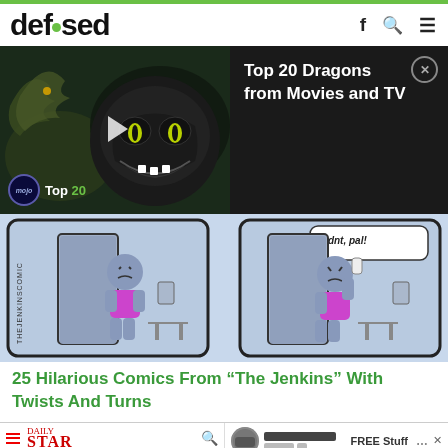defused
[Figure (screenshot): Video ad showing dragons from Movies and TV with mojo Top 20 badge and play button overlay]
Top 20 Dragons from Movies and TV
[Figure (illustration): Comic strip panels from The Jenkins Comic showing a character with speech bubble saying 'didnt, pal!']
25 Hilarious Comics From “The Jenkins” With Twists And Turns
[Figure (screenshot): Daily Star website header with hamburger menu, Star logo, search icon]
Influencer slammed for offering to 'help' restaurant by eating free food
[Figure (screenshot): Facebook notification showing FREE Stuff post with Good morning Nintendo switch message on gold/emoji background]